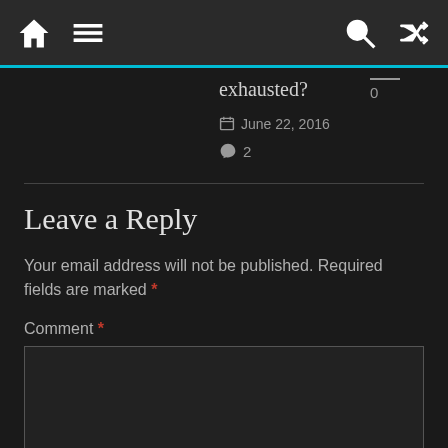Navigation bar with home, menu, search, and shuffle icons
exhausted?
0
June 22, 2016
2
Leave a Reply
Your email address will not be published. Required fields are marked *
Comment *
[Figure (other): Empty comment textarea input field with a scroll-up chevron button in the bottom-right corner]